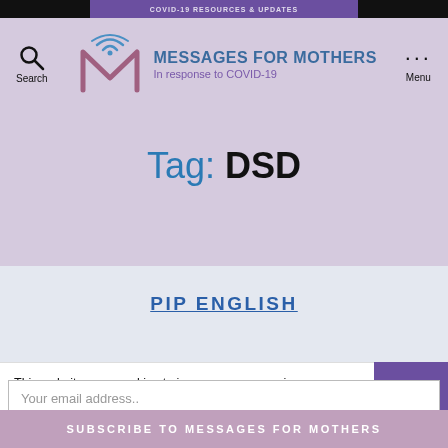[Figure (logo): Messages for Mothers logo with WiFi signal M icon and text 'MESSAGES FOR MOTHERS / In response to COVID-19']
Tag: DSD
PIP ENGLISH
This website uses cookies to improve your experience. We'll assume you're ok with this, but you can opt-out if
Your email address..
SUBSCRIBE TO MESSAGES FOR MOTHERS